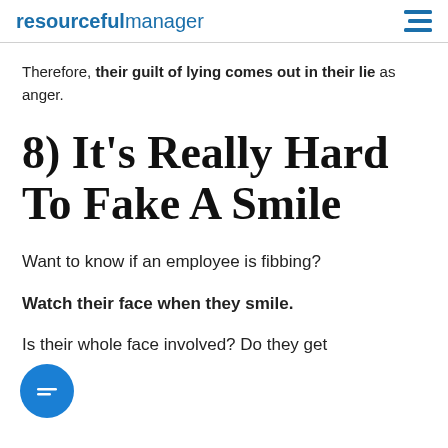resourcefulmanager
Therefore, their guilt of lying comes out in their lie as anger.
8) It's Really Hard To Fake A Smile
Want to know if an employee is fibbing?
Watch their face when they smile.
Is their whole face involved? Do they get